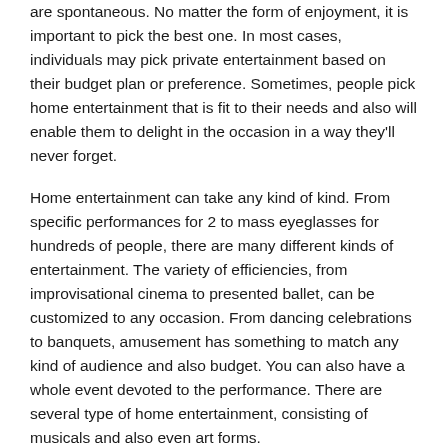are spontaneous. No matter the form of enjoyment, it is important to pick the best one. In most cases, individuals may pick private entertainment based on their budget plan or preference. Sometimes, people pick home entertainment that is fit to their needs and also will enable them to delight in the occasion in a way they'll never forget.
Home entertainment can take any kind of kind. From specific performances for 2 to mass eyeglasses for hundreds of people, there are many different kinds of entertainment. The variety of efficiencies, from improvisational cinema to presented ballet, can be customized to any occasion. From dancing celebrations to banquets, amusement has something to match any kind of audience and also budget. You can also have a whole event devoted to the performance. There are several type of home entertainment, consisting of musicals and also even art forms.
Personal and public amusement are various. Some are strictly for pleasure, while others can be used for intellectual or spiritual growth. Some types of amusement are both